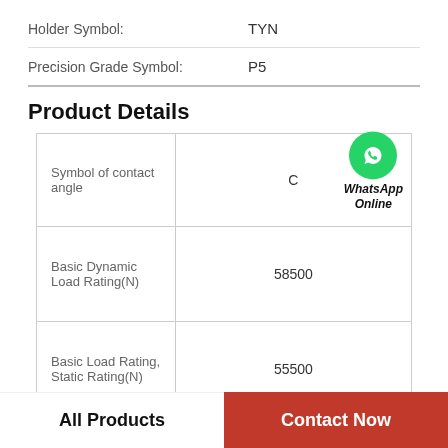Holder Symbol: TYN
Precision Grade Symbol: P5
Product Details
|  |  |
| --- | --- |
| Symbol of contact angle | C |
| Basic Dynamic Load Rating(N) | 58500 |
| Basic Load Rating, Static Rating(N) | 55500 |
| Type | Angular Contact Ball |
All Products
Contact Now